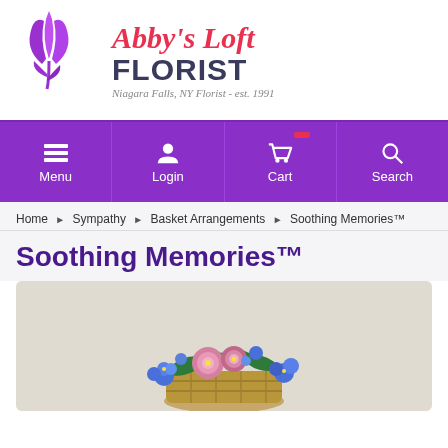[Figure (logo): Abby's Loft Florist logo with purple tulip/flower icon and text: Abby's Loft in red script, FLORIST in dark navy bold, tagline Niagara Falls, NY Florist - est. 1991]
Menu | Login | Cart | Search
Home ▶ Sympathy ▶ Basket Arrangements ▶ Soothing Memories™
Soothing Memories™
[Figure (photo): Product photo of Soothing Memories flower arrangement with blue and pink flowers in a basket on a light beige background]